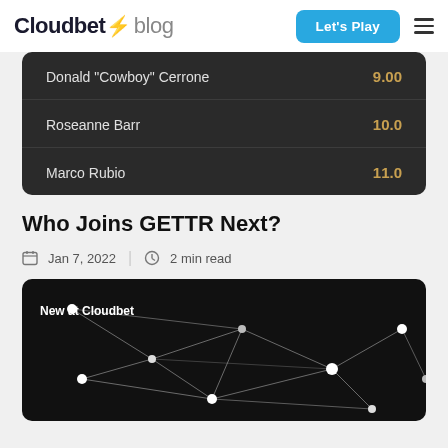Cloudbet blog | Let's Play
[Figure (screenshot): Dark-themed betting odds table showing: Donald 'Cowboy' Cerrone 9.00, Roseanne Barr 10.0, Marco Rubio 11.0]
Who Joins GETTR Next?
Jan 7, 2022 | 2 min read
[Figure (illustration): Dark background with white network graph (nodes and edges / connected dots) with label 'New at Cloudbet' in upper left]